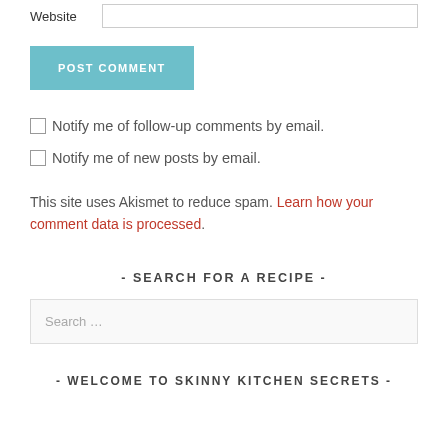Website [input field]
POST COMMENT
Notify me of follow-up comments by email.
Notify me of new posts by email.
This site uses Akismet to reduce spam. Learn how your comment data is processed.
- SEARCH FOR A RECIPE -
Search …
- WELCOME TO SKINNY KITCHEN SECRETS -